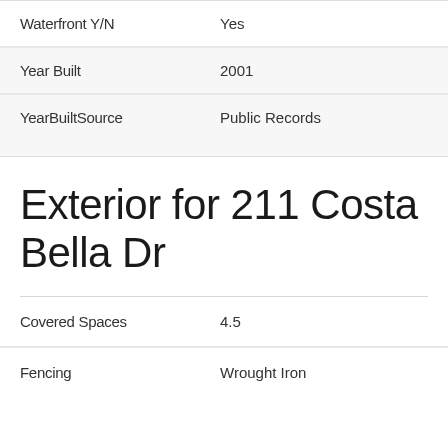| Waterfront Y/N | Yes |
| Year Built | 2001 |
| YearBuiltSource | Public Records |
Exterior for 211 Costa Bella Dr
| Covered Spaces | 4.5 |
| Fencing | Wrought Iron |